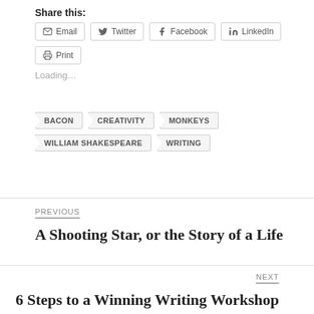Share this:
Email
Twitter
Facebook
LinkedIn
Print
Loading...
BACON
CREATIVITY
MONKEYS
WILLIAM SHAKESPEARE
WRITING
PREVIOUS
A Shooting Star, or the Story of a Life
NEXT
6 Steps to a Winning Writing Workshop